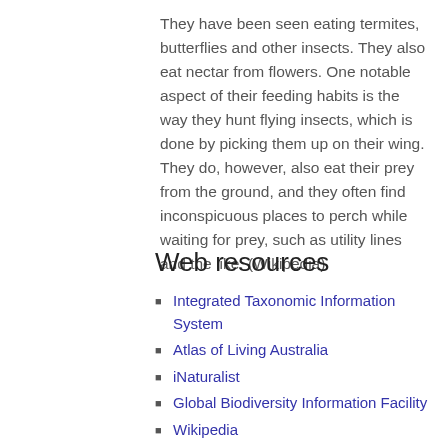They have been seen eating termites, butterflies and other insects. They also eat nectar from flowers. One notable aspect of their feeding habits is the way they hunt flying insects, which is done by picking them up on their wing. They do, however, also eat their prey from the ground, and they often find inconspicuous places to perch while waiting for prey, such as utility lines and the like. (Wikipedia)
Web resources
Integrated Taxonomic Information System
Atlas of Living Australia
iNaturalist
Global Biodiversity Information Facility
Wikipedia
Xeno Canto (bird calls)
Search Google
Search Flickr
Search Encyclopedia of Life